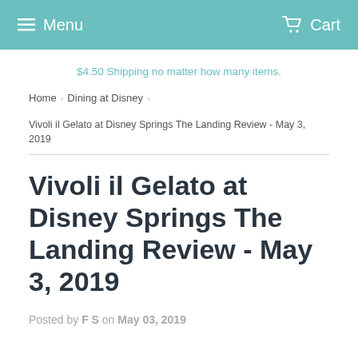Menu   Cart
$4.50 Shipping no matter how many items.
Home › Dining at Disney ›
Vivoli il Gelato at Disney Springs The Landing Review - May 3, 2019
Vivoli il Gelato at Disney Springs The Landing Review - May 3, 2019
Posted by F S on May 03, 2019